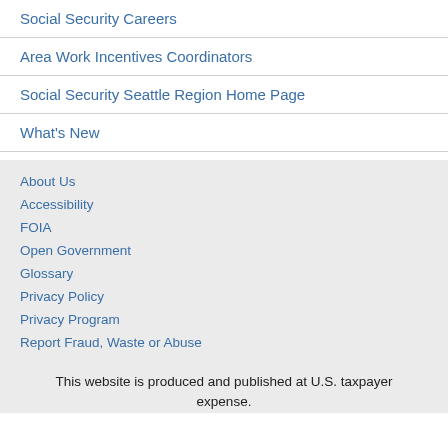Social Security Careers
Area Work Incentives Coordinators
Social Security Seattle Region Home Page
What's New
About Us
Accessibility
FOIA
Open Government
Glossary
Privacy Policy
Privacy Program
Report Fraud, Waste or Abuse
This website is produced and published at U.S. taxpayer expense.